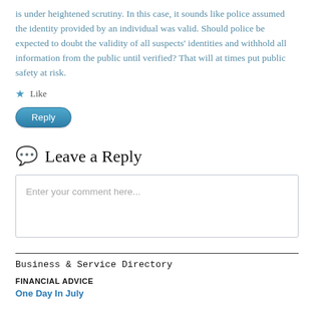is under heightened scrutiny. In this case, it sounds like police assumed the identity provided by an individual was valid. Should police be expected to doubt the validity of all suspects' identities and withhold all information from the public until verified? That will at times put public safety at risk.
Like
Reply
Leave a Reply
Enter your comment here...
Business & Service Directory
FINANCIAL ADVICE
One Day In July